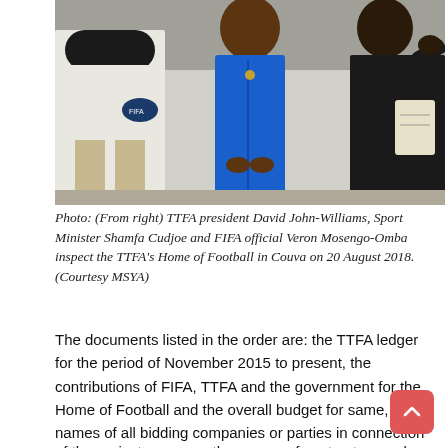[Figure (photo): Three people standing outdoors: TTFA president David John-Williams on the right gesturing, Sport Minister Shamfa Cudjoe in a blue dress in the center, and FIFA official Veron Mosengo-Omba on the left. One person holds a FIFA cap.]
Photo: (From right) TTFA president David John-Williams, Sport Minister Shamfa Cudjoe and FIFA official Veron Mosengo-Omba inspect the TTFA's Home of Football in Couva on 20 August 2018. (Courtesy MSYA)
The documents listed in the order are: the TTFA ledger for the period of November 2015 to present, the contributions of FIFA, TTFA and the government for the Home of Football and the overall budget for same, the names of all bidding companies or parties in connection with the project, the TTFA personnel who selected contractors and sub-contractors for the project, the name of the project manager, the names of contractors and